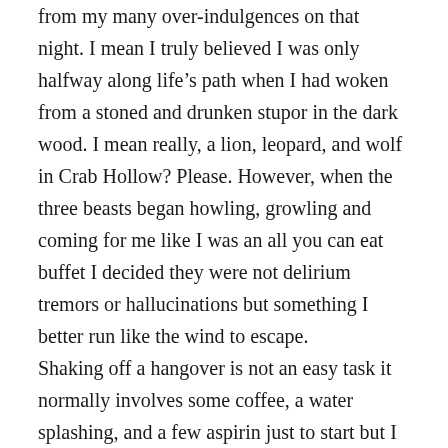from my many over-indulgences on that night. I mean I truly believed I was only halfway along life's path when I had woken from a stoned and drunken stupor in the dark wood. I mean really, a lion, leopard, and wolf in Crab Hollow? Please. However, when the three beasts began howling, growling and coming for me like I was an all you can eat buffet I decided they were not delirium tremors or hallucinations but something I better run like the wind to escape. Shaking off a hangover is not an easy task it normally involves some coffee, a water splashing, and a few aspirin just to start but I had to make do with a quick self slap, intense head shake back an fourth and feets don't fail me now attitude. I ran deeper into the wood with three mean ugly beasts hot on my trail. To the best